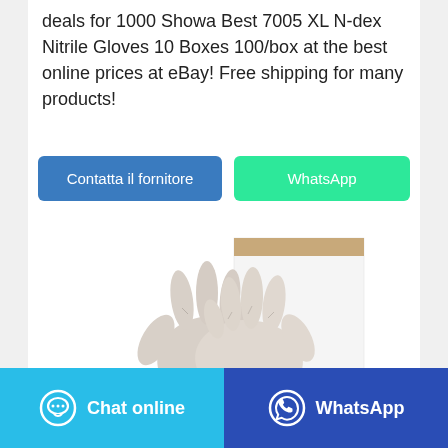deals for 1000 Showa Best 7005 XL N-dex Nitrile Gloves 10 Boxes 100/box at the best online prices at eBay! Free shipping for many products!
[Figure (other): Two buttons: 'Contatta il fornitore' (blue) and 'WhatsApp' (green)]
[Figure (photo): Product photo showing a pair of white/light nitrile gloves on hands next to a white box with a tan/brown top edge, on a white background]
[Figure (other): Footer bar with two buttons: 'Chat online' (light blue with chat bubble icon) and 'WhatsApp' (dark blue with WhatsApp icon)]